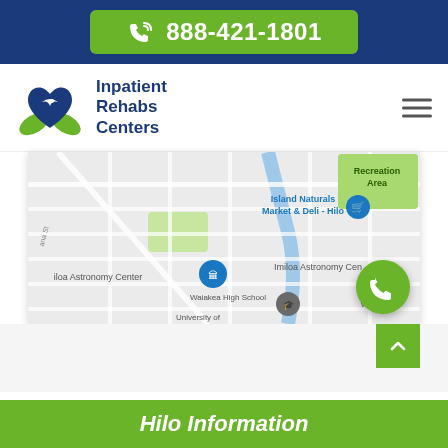888-421-1801
[Figure (logo): Inpatient Rehabs Centers logo with heart and hands icon]
Inpatient Rehabs Centers
[Figure (map): Google Maps view of Hilo, Hawaii area showing Island Naturals Market & Deli - Hilo, Imiloa Astronomy Center, Waiakea High School, University of Hawaii area, and Recreation Area]
Hilo Information